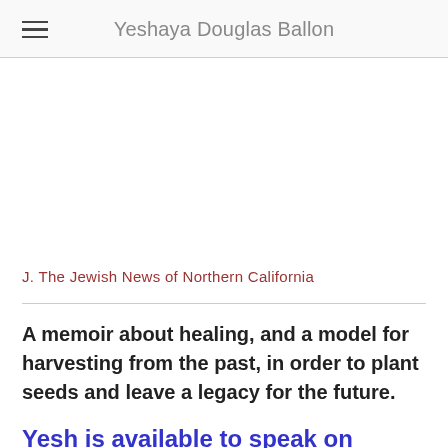Yeshaya Douglas Ballon
J. The Jewish News of Northern California
A memoir about healing, and a model for harvesting from the past, in order to plant seeds and leave a legacy for the future.
Yesh is available to speak on